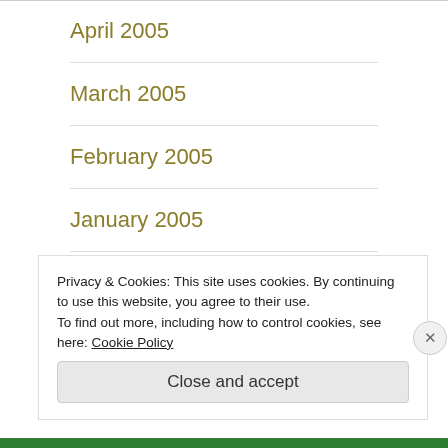April 2005
March 2005
February 2005
January 2005
December 2004
November 2004
Privacy & Cookies: This site uses cookies. By continuing to use this website, you agree to their use.
To find out more, including how to control cookies, see here: Cookie Policy